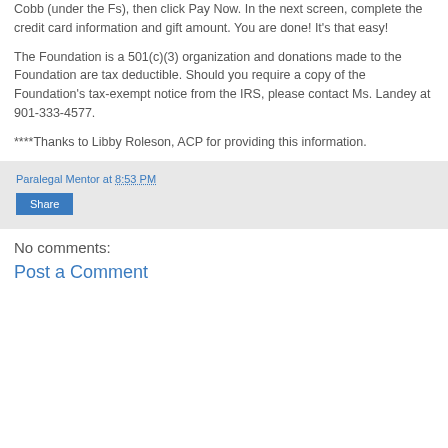Cobb (under the Fs), then click Pay Now. In the next screen, complete the credit card information and gift amount. You are done! It's that easy!
The Foundation is a 501(c)(3) organization and donations made to the Foundation are tax deductible. Should you require a copy of the Foundation's tax-exempt notice from the IRS, please contact Ms. Landey at 901-333-4577.
****Thanks to Libby Roleson, ACP for providing this information.
Paralegal Mentor at 8:53 PM
Share
No comments:
Post a Comment